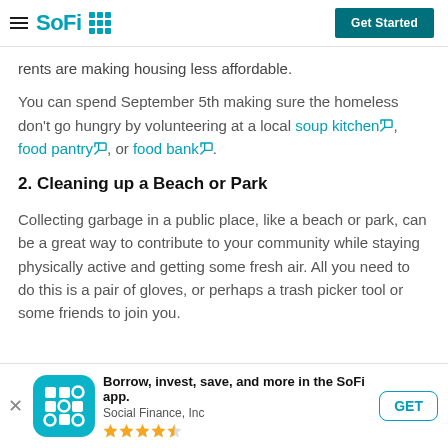SoFi — Get Started
rents are making housing less affordable.
You can spend September 5th making sure the homeless don't go hungry by volunteering at a local soup kitchen, food pantry, or food bank.
2. Cleaning up a Beach or Park
Collecting garbage in a public place, like a beach or park, can be a great way to contribute to your community while staying physically active and getting some fresh air. All you need to do this is a pair of gloves, or perhaps a trash picker tool or some friends to join you.
Borrow, invest, save, and more in the SoFi app. Social Finance, Inc ★★★★½ GET